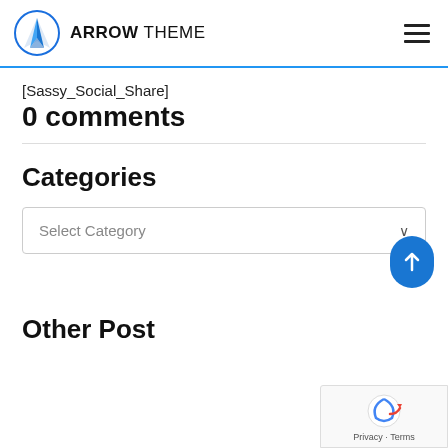ARROW THEME
[Sassy_Social_Share]
0 comments
Categories
Select Category
Other Post